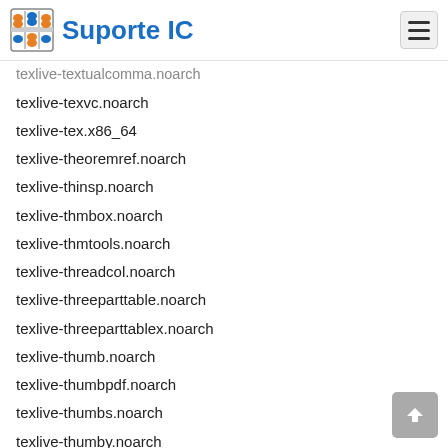Suporte IC
texlive-textualcomma.noarch
texlive-texvc.noarch
texlive-tex.x86_64
texlive-theoremref.noarch
texlive-thinsp.noarch
texlive-thmbox.noarch
texlive-thmtools.noarch
texlive-threadcol.noarch
texlive-threeparttable.noarch
texlive-threeparttablex.noarch
texlive-thumb.noarch
texlive-thumbpdf.noarch
texlive-thumbs.noarch
texlive-thumby.noarch
texlive-ticket.noarch
texlive-ticollege.noarch